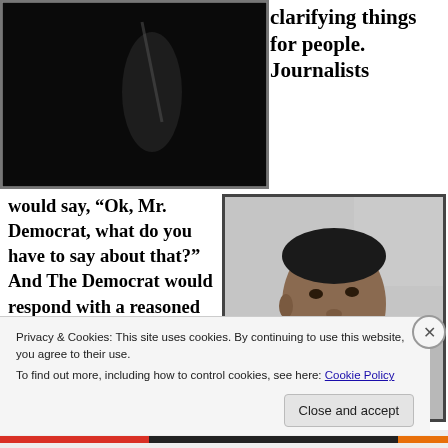[Figure (photo): Dark/black background photo, appears to show a person in low light, partially visible]
clarifying things for people. Journalists
would say, “Ok, Mr. Democrat, what do you have to say about that?” And The Democrat would respond with a reasoned argument, laying out all these things that made
[Figure (photo): Black and white portrait photo of Barack Obama looking upward, wearing a suit and tie]
Privacy & Cookies: This site uses cookies. By continuing to use this website, you agree to their use.
To find out more, including how to control cookies, see here: Cookie Policy
Close and accept